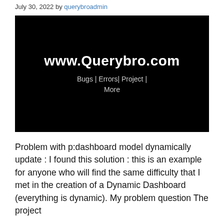July 30, 2022 by querybroadmin
[Figure (screenshot): Black banner image for www.Querybro.com website showing the site name in bold white text with subtitle 'Bugs | Errors | Project | More' in grey text on black background.]
Problem with p:dashboard model dynamically update : I found this solution : this is an example for anyone who will find the same difficulty that I met in the creation of a Dynamic Dashboard (everything is dynamic). My problem question The project